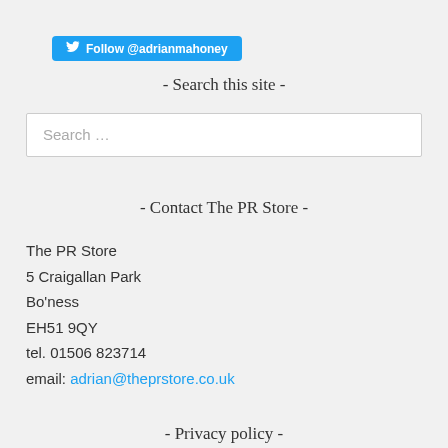[Figure (other): Twitter Follow button with bird icon: Follow @adrianmahoney]
- Search this site -
Search ...
- Contact The PR Store -
The PR Store
5 Craigallan Park
Bo'ness
EH51 9QY
tel. 01506 823714
email: adrian@theprstore.co.uk
- Privacy policy -